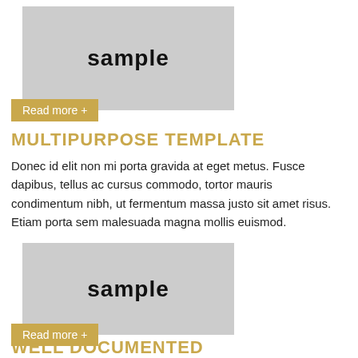[Figure (illustration): Gray placeholder image block with 'sample' text in bold black serif-style font centered]
Read more +
MULTIPURPOSE TEMPLATE
Donec id elit non mi porta gravida at eget metus. Fusce dapibus, tellus ac cursus commodo, tortor mauris condimentum nibh, ut fermentum massa justo sit amet risus. Etiam porta sem malesuada magna mollis euismod.
[Figure (illustration): Gray placeholder image block with 'sample' text in bold black serif-style font centered]
Read more +
WELL DOCUMENTED